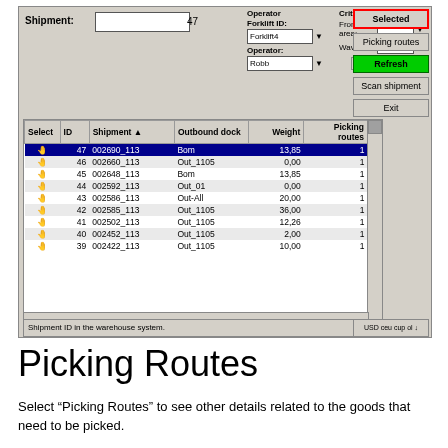[Figure (screenshot): Warehouse management software screenshot showing a Picking Routes interface with shipment list. Shipment 47 is selected (002690_113, Bom, 13.85 weight, 1 picking route). Other shipments listed: 46 002660_113 Out_1105, 45 002648_113 Bom, 44 002592_113 Out_01, 43 002586_113 Out-All, 42 002585_113 Out_1105, 41 002502_113 Out_1105, 40 002452_113 Out_1105, 39 002422_113 Out_1105. Buttons: Selected (red border), Picking routes, Refresh (green), Scan shipment, Exit. Status: Shipments selected 1. Weight is 13,85(kg). Routes available 1.]
Picking Routes
Select “Picking Routes” to see other details related to the goods that need to be picked.